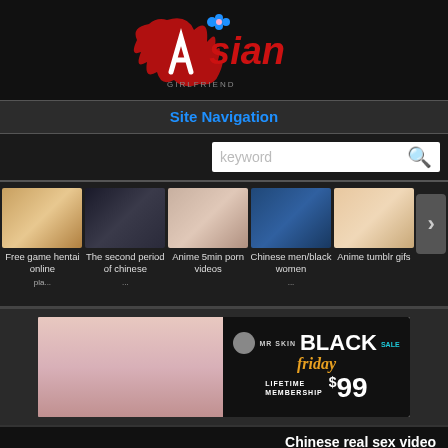[Figure (logo): Asian website logo with red brush-stroke 'A' and word 'Asian' in red text with blue flower accent]
Site Navigation
[Figure (screenshot): Search box with keyword placeholder and blue search icon]
[Figure (screenshot): Thumbnail gallery row showing 5 video thumbnails with captions: Free game hentai online, The second period of chinese, Anime 5min porn videos, Chinese men/black women, Anime tumblr gifs]
[Figure (photo): Mr Skin Black Friday Sale advertisement banner - Lifetime Membership $99]
Chinese real sex video